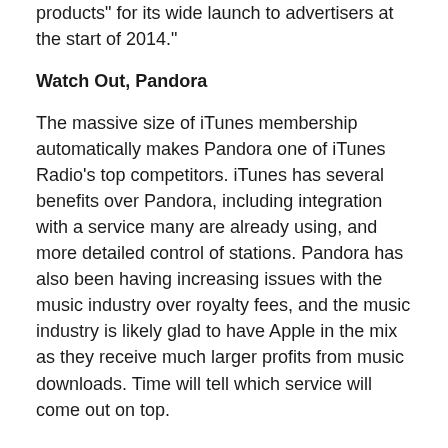products" for its wide launch to advertisers at the start of 2014."
Watch Out, Pandora
The massive size of iTunes membership automatically makes Pandora one of iTunes Radio's top competitors. iTunes has several benefits over Pandora, including integration with a service many are already using, and more detailed control of stations. Pandora has also been having increasing issues with the music industry over royalty fees, and the music industry is likely glad to have Apple in the mix as they receive much larger profits from music downloads. Time will tell which service will come out on top.